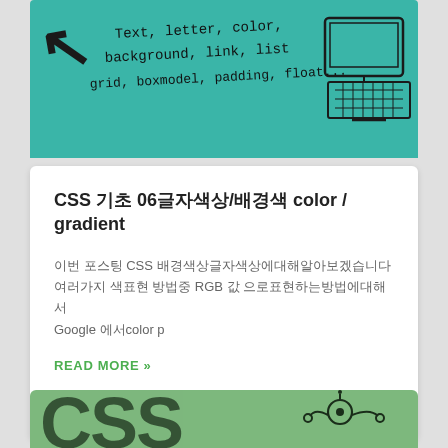[Figure (illustration): Teal/turquoise background banner with hand-drawn sketch showing an arrow, handwritten CSS property names (Text, letter, color, background, link, list, grid, boxmodel, padding, float...) and a sketched monitor/calculator device on the right]
CSS 기초 06글자색상/배경색 color / gradient
이번 포스팅 CSS 배경색상글자색상에대해알아보겠습니다 여러가지 색표현 방법중 RGB 값 으로표현하는방법에대해서 Google 에서color p
READ MORE »
2020-05-15
[Figure (illustration): Green background banner with large hand-drawn sketch-style CSS letters and a robot character on the right side]